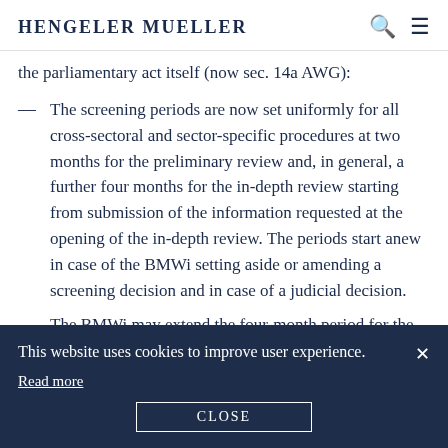Hengeler Mueller
the parliamentary act itself (now sec. 14a AWG):
The screening periods are now set uniformly for all cross-sectoral and sector-specific procedures at two months for the preliminary review and, in general, a further four months for the in-depth review starting from submission of the information requested at the opening of the in-depth review. The periods start anew in case of the BMWi setting aside or amending a screening decision and in case of a judicial decision.
The BMWi may extend the four-month period for the in-depth review by three months in case of special factual or legal difficulties. The review period may be extended by another month if the Federal Ministry of Defense claims that the
This website uses cookies to improve user experience.
Read more
CLOSE